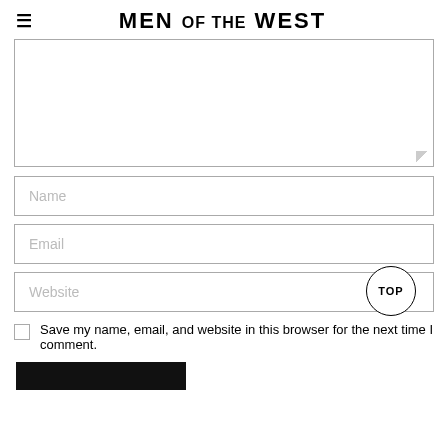MEN OF THE WEST
[Figure (screenshot): Comment form textarea (empty), partially visible at top]
Name
Email
Website
Save my name, email, and website in this browser for the next time I comment.